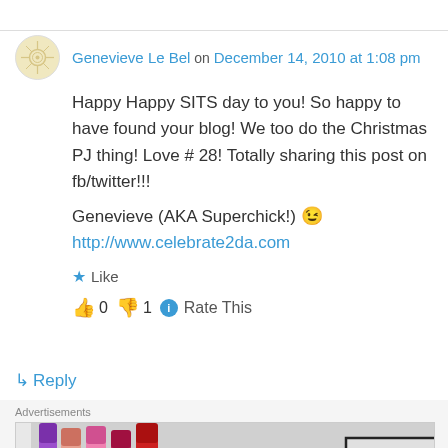Genevieve Le Bel on December 14, 2010 at 1:08 pm
Happy Happy SITS day to you! So happy to have found your blog! We too do the Christmas PJ thing! Love # 28! Totally sharing this post on fb/twitter!!!
Genevieve (AKA Superchick!) 😉
http://www.celebrate2da.com
★ Like
👍 0 👎 1 ℹ Rate This
↳ Reply
Advertisements
[Figure (photo): MAC cosmetics advertisement banner showing lipsticks with SHOP NOW button]